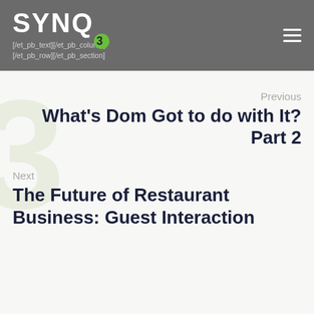[/et_pb_text][/et_pb_column] [/et_pb_row][/et_pb_section]
Previous
What's Dom Got to do with It? Part 2
Next
The Future of Restaurant Business: Guest Interaction